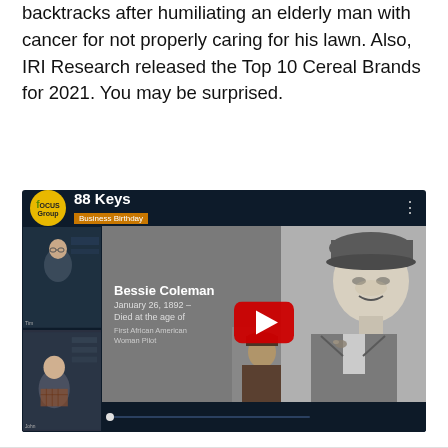backtracks after humiliating an elderly man with cancer for not properly caring for his lawn. Also, IRI Research released the Top 10 Cereal Brands for 2021. You may be surprised.
[Figure (screenshot): YouTube video thumbnail showing a Focus Group video titled '88 Keys' with a 'Business Birthday' subtitle. Features information about Bessie Coleman (January 26, 1892, Died at the age of..., First African American Woman Pilot) with a YouTube play button overlay, a B&W portrait photo of Bessie Coleman smiling in aviator gear, and a smaller inset photo. Left sidebar shows two webcam feeds of male participants.]